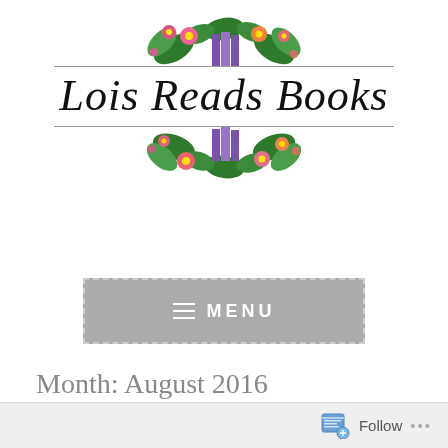[Figure (logo): Lois Reads Books blog logo with floral decoration (flowers and leaves) above and below the cursive text, with horizontal rules on either side of the text]
[Figure (other): Menu button: grey rectangle with dashed border, hamburger icon and MENU text in white]
Month: August 2016
Follow ...